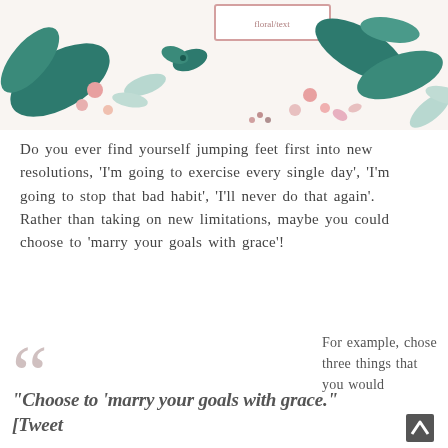[Figure (illustration): Decorative floral header banner with tropical leaves, pink flowers, and butterflies on a white background with a pink-bordered text box in the center top.]
Do you ever find yourself jumping feet first into new resolutions, ‘I’m going to exercise every single day’, ‘I’m going to stop that bad habit’, ‘I’ll never do that again’.  Rather than taking on new limitations, maybe you could choose to ‘marry your goals with grace’!
For example, chose three things that you would
“Choose to ‘marry your goals with grace.” [Tweet